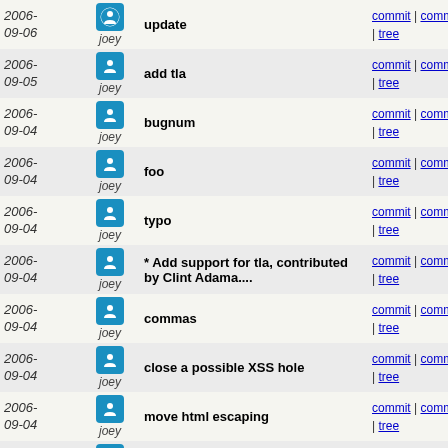| Date | Author | Message | Links |
| --- | --- | --- | --- |
| 2006-09-06 | joey | update | commit | commitdiff | tree |
| 2006-09-05 | joey | add tla | commit | commitdiff | tree |
| 2006-09-04 | joey | bugnum | commit | commitdiff | tree |
| 2006-09-04 | joey | foo | commit | commitdiff | tree |
| 2006-09-04 | joey | typo | commit | commitdiff | tree |
| 2006-09-04 | joey | * Add support for tla, contributed by Clint Adama.... | commit | commitdiff | tree |
| 2006-09-04 | joey | commas | commit | commitdiff | tree |
| 2006-09-04 | joey | close a possible XSS hole | commit | commitdiff | tree |
| 2006-09-04 | joey | move html escaping | commit | commitdiff | tree |
| 2006-09-04 | joey | fix | commit | commitdiff | tree |
| 2006-09-04 | joey | man page says I need this | commit | commitdiff | tree |
| 2006-09-04 | joey | fix | commit | commitdiff | tree |
| 2006-09-04 | joey | * Drop real uid/gid in the suid | commit | commitdiff | tree |